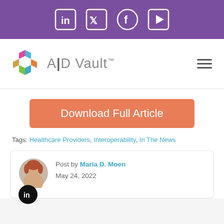[Figure (other): Purple top navigation bar with social media icons: LinkedIn, Twitter, Facebook, YouTube]
[Figure (logo): A|D Vault logo with colorful hexagonal icon and text, hamburger menu icon on right]
[Figure (other): Orange Download Full Article button]
Tags: Healthcare Providers, Interoperability, In The News
Post by Maria D. Moen
May 24, 2022
[Figure (photo): Circular author photo of Maria D. Moen]
[Figure (other): LinkedIn circular black icon]